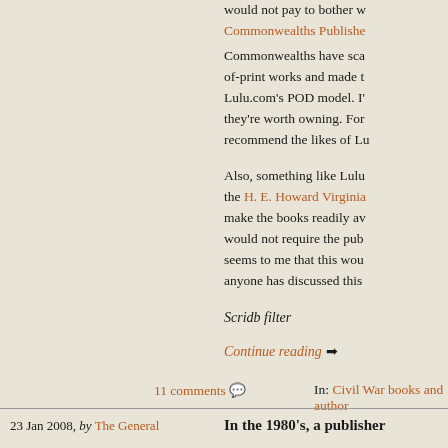would not pay to bother w...
Commonwealths Publishe...
Commonwealths have sca... of-print works and made t... Lulu.com's POD model. I'... they're worth owning. For... recommend the likes of Lu...
Also, something like Lulu... the H. E. Howard Virginia... make the books readily av... would not require the pub... seems to me that this wou... anyone has discussed this...
Scridb filter
Continue reading →
11 comments 💬
In: Civil War books and author...
23 Jan 2008, by The General
In the 1980's, a publisher...